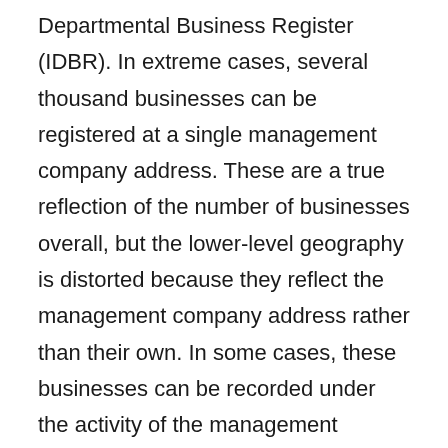Departmental Business Register (IDBR). In extreme cases, several thousand businesses can be registered at a single management company address. These are a true reflection of the number of businesses overall, but the lower-level geography is distorted because they reflect the management company address rather than their own. In some cases, these businesses can be recorded under the activity of the management company rather than their own individual Standard Industrial Classification (SIC).
When new businesses are registered as limited companies by temporary workers and contractors, their survival rates can be shorter. For example, in the initial year the area could show a higher than normal